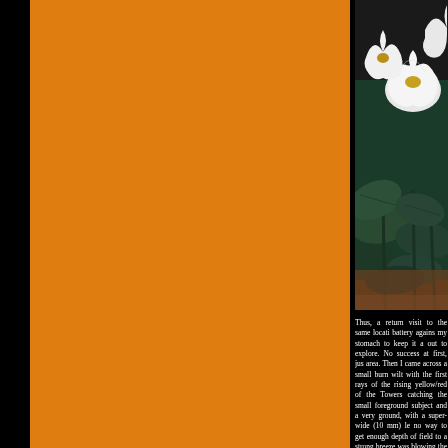[Figure (photo): A close-up photograph of white trumpet-shaped flowers (likely Datura/jimsonweed) with large dark green leaves, set against a reddish-brown ground background. The flowers are in focus in the foreground.]
Thus, a return visit to the same location, battery agains my stomach to keep it a out to explore. No success at first, just area. Then I came across a small burn wilt with the first rays of the rising yellow/red of the Towers catching the small foreground subject and a very ground, with a super-wide (10 mm) le no way to get enough depth of field to a strong breeze was blowing the flowe solution was to make multiple exposu